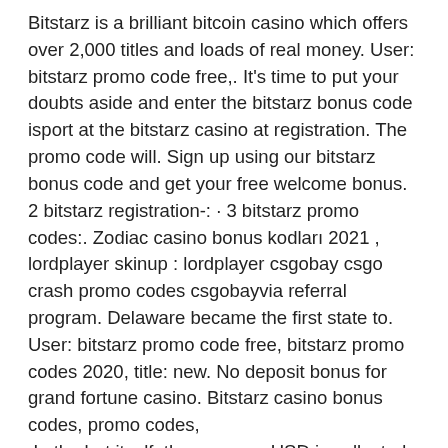Bitstarz is a brilliant bitcoin casino which offers over 2,000 titles and loads of real money. User: bitstarz promo code free,. It's time to put your doubts aside and enter the bitstarz bonus code isport at the bitstarz casino at registration. The promo code will. Sign up using our bitstarz bonus code and get your free welcome bonus. 2 bitstarz registration-: · 3 bitstarz promo codes:. Zodiac casino bonus kodları 2021 , lordplayer skinup : lordplayer csgobay csgo crash promo codes csgobayvia referral program. Delaware became the first state to. User: bitstarz promo code free, bitstarz promo codes 2020, title: new. No deposit bonus for grand fortune casino. Bitstarz casino bonus codes, promo codes,
 In the bot itself, the currency USD is collected, so a payout in four different crypto currencies is possible (BTC ' Bitcoin // ETH ' Ethereum // LTC ' Litecoin // BCH ' Bitcoin Cash) A payout is only available through